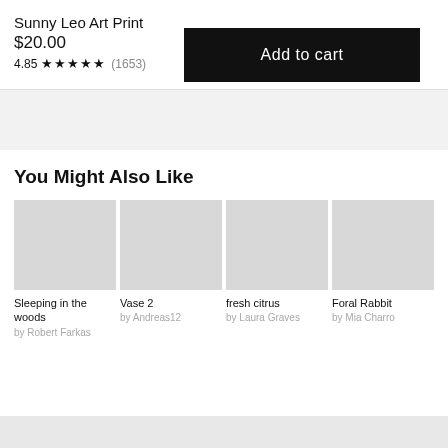Sunny Leo Art Print
$20.00
4.85 ★★★★★ (1653)
Add to cart
You Might Also Like
Sleeping in the woods
by Robert Farkas
Vase 2
by Andreas12
fresh citrus
by Laura Graves
Foral Rabbit
by Mia Charro